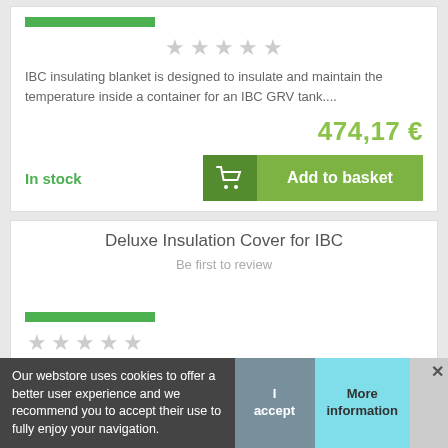[Figure (infographic): Green progress/rating bar at top of first product card]
[Figure (infographic): Five gray star rating icons]
IBC insulating blanket is designed to insulate and maintain the temperature inside a container for an IBC GRV tank....
474,17 €
In stock
Add to basket
Deluxe Insulation Cover for IBC
Be first to review
[Figure (infographic): Green progress/rating bar for second product card]
[Figure (infographic): Five gray/green star rating icons partially visible]
Deluxe ins...de made to insulate and maintain...
Our webstore uses cookies to offer a better user experience and we recommend you to accept their use to fully enjoy your navigation.
I accept
More information